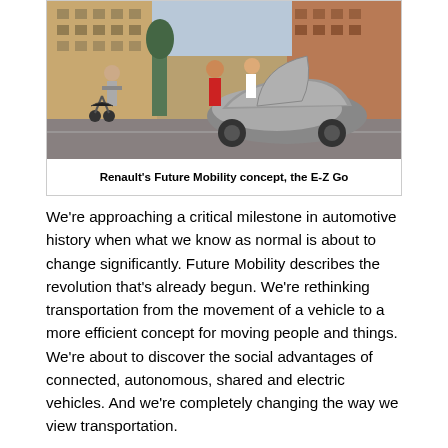[Figure (photo): Photo of Renault's E-Z Go Future Mobility concept vehicle on a city street, with people and a stroller nearby. The car has a futuristic silver design with gull-wing doors open.]
Renault's Future Mobility concept, the E-Z Go
We're approaching a critical milestone in automotive history when what we know as normal is about to change significantly. Future Mobility describes the revolution that's already begun. We're rethinking transportation from the movement of a vehicle to a more efficient concept for moving people and things. We're about to discover the social advantages of connected, autonomous, shared and electric vehicles. And we're completely changing the way we view transportation.